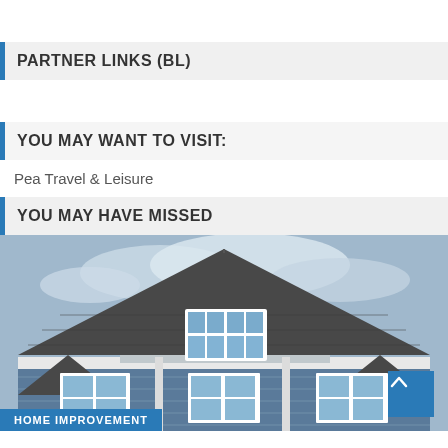PARTNER LINKS (BL)
Pea Travel & Leisure
YOU MAY WANT TO VISIT:
YOU MAY HAVE MISSED
[Figure (photo): Exterior of a suburban house with gray/blue siding, white trim, dormer window, dark shingled roof, against a cloudy blue sky. HOME IMPROVEMENT label badge at bottom.]